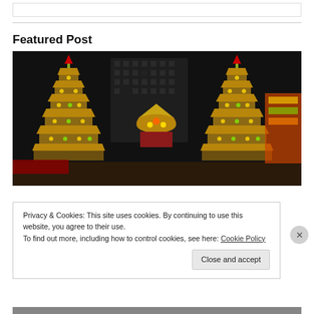Featured Post
[Figure (photo): Nighttime photo of illuminated Chinese temple pagoda towers with golden decorations and ornate roof structures, against a dark sky with buildings in background]
Privacy & Cookies: This site uses cookies. By continuing to use this website, you agree to their use.
To find out more, including how to control cookies, see here: Cookie Policy